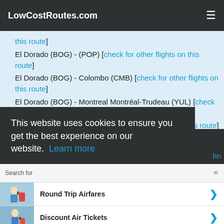LowCostRoutes.com
El Dorado (BOG) - (POP) [check for other flights on this route]
El Dorado (BOG) - Colombo (CMB) [check for other flights on this route]
El Dorado (BOG) - Montreal Montréal-Trudeau (YUL) [check for other flights on this route]
El Dorado (BOG) - (JED) [check for other flights on this route]
This website uses cookies to ensure you get the best experience on our website. Learn more
Search for
Round Trip Airfares
Discount Air Tickets
Ad | Business Focus